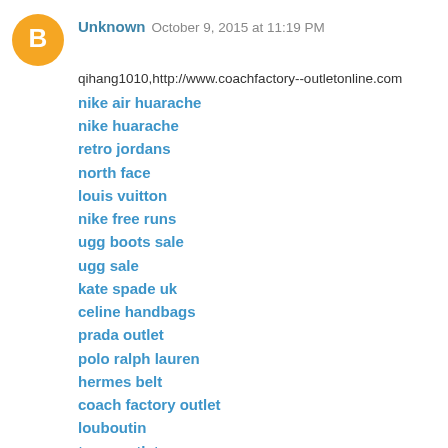Unknown  October 9, 2015 at 11:19 PM
qihang1010,http://www.coachfactory--outletonline.com
nike air huarache
nike huarache
retro jordans
north face
louis vuitton
nike free runs
ugg boots sale
ugg sale
kate spade uk
celine handbags
prada outlet
polo ralph lauren
hermes belt
coach factory outlet
louboutin
toms outlet
adidas shoes uk
hermes uk
pandora
cheap jerseys